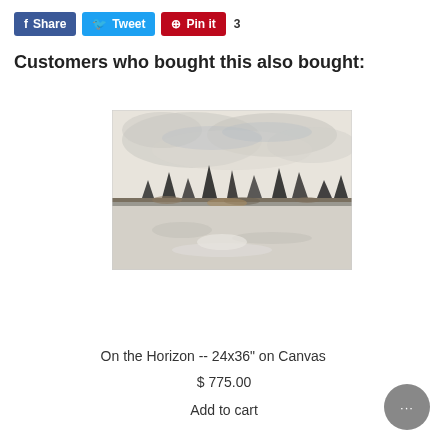[Figure (screenshot): Social share buttons: Facebook Share (blue), Twitter Tweet (light blue), Pinterest Pin it (red) with count 3]
Customers who bought this also bought:
[Figure (photo): Abstract landscape painting titled 'On the Horizon', showing muted grey and beige tones with abstract treeline and sky]
On the Horizon -- 24x36" on Canvas
$ 775.00
Add to cart